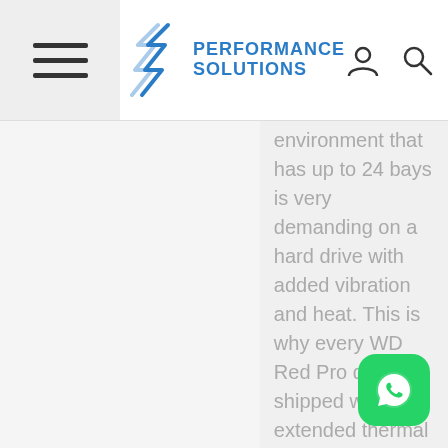Performance Solutions
environment that has up to 24 bays is very demanding on a hard drive with added vibration and heat. This is why every WD Red Pro drive is shipped with extended thermal cycle burn-in testing to help ensure each is tested for extended reliable